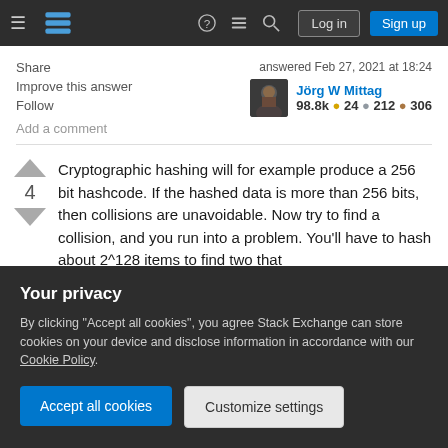[Figure (screenshot): Stack Exchange navigation bar with hamburger menu, logo, question/chat/search icons, Log in and Sign up buttons]
Share
Improve this answer
Follow
Add a comment
answered Feb 27, 2021 at 18:24
Jörg W Mittag
98.8k • 24 • 212 • 306
Cryptographic hashing will for example produce a 256 bit hashcode. If the hashed data is more than 256 bits, then collisions are unavoidable. Now try to find a collision, and you run into a problem. You'll have to hash about 2^128 items to find two that
Your privacy
By clicking "Accept all cookies", you agree Stack Exchange can store cookies on your device and disclose information in accordance with our Cookie Policy.
Accept all cookies
Customize settings
am capable of deliberately creating two different